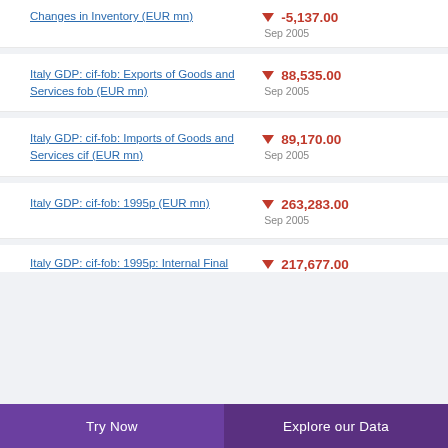Changes in Inventory (EUR mn)
Italy GDP: cif-fob: Exports of Goods and Services fob (EUR mn)
Italy GDP: cif-fob: Imports of Goods and Services cif (EUR mn)
Italy GDP: cif-fob: 1995p (EUR mn)
Italy GDP: cif-fob: 1995p: Internal Final
Try Now | Explore our Data